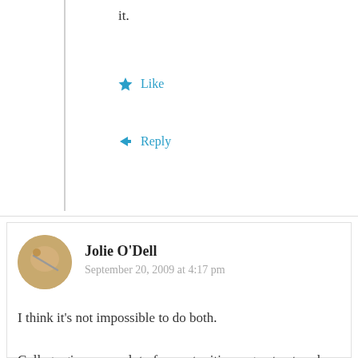it.
Like
Reply
Jolie O'Dell
September 20, 2009 at 4:17 pm
I think it’s not impossible to do both.

College gives you a lot of opportunities, a great network, time to think, space to grow – lots of good stuff.

And there is NO rule against being an entrepreneur in college. In fact, it’s becoming more common